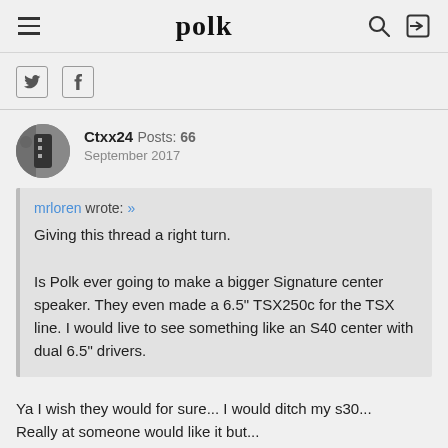polk
[Figure (screenshot): Social media sharing icons: Twitter bird icon and Facebook f icon]
Ctxx24  Posts: 66
September 2017
mrloren wrote: »
Giving this thread a right turn.

Is Polk ever going to make a bigger Signature center speaker. They even made a 6.5" TSX250c for the TSX line. I would live to see something like an S40 center with dual 6.5" drivers.
Ya I wish they would for sure... I would ditch my s30...
Really at someone would like it but...